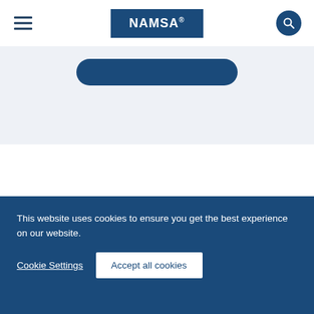NAMSA
[Figure (screenshot): Blue rounded rectangle button in a light blue/grey banner section]
AGENDAS
This website uses cookies to ensure you get the best experience on our website.
Cookie Settings   Accept all cookies